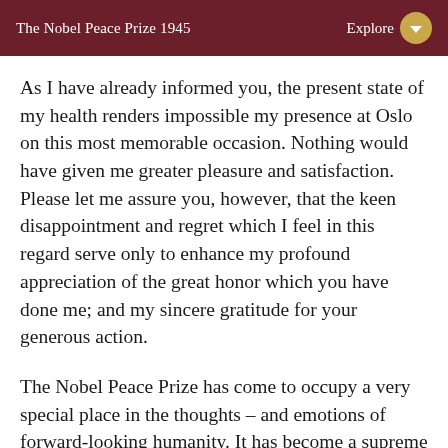The Nobel Peace Prize 1945
As I have already informed you, the present state of my health renders impossible my presence at Oslo on this most memorable occasion. Nothing would have given me greater pleasure and satisfaction. Please let me assure you, however, that the keen disappointment and regret which I feel in this regard serve only to enhance my profound appreciation of the great honor which you have done me; and my sincere gratitude for your generous action.
The Nobel Peace Prize has come to occupy a very special place in the thoughts – and emotions of forward-looking humanity. It has become a supreme mark of distinction in the field of effort directed toward the attainment of man's highest aspiration –